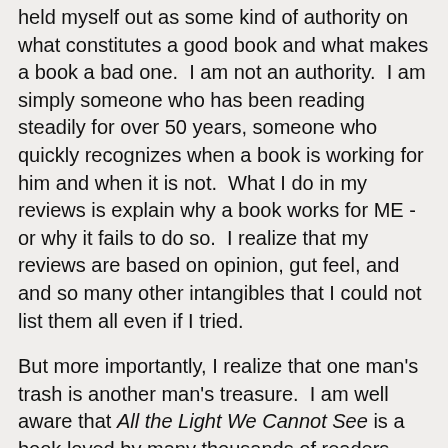held myself out as some kind of authority on what constitutes a good book and what makes a book a bad one.  I am not an authority.  I am simply someone who has been reading steadily for over 50 years, someone who quickly recognizes when a book is working for him and when it is not.  What I do in my reviews is explain why a book works for ME - or why it fails to do so.  I realize that my reviews are based on opinion, gut feel, and and so many other intangibles that I could not list them all even if I tried.
But more importantly, I realize that one man's trash is another man's treasure.  I am well aware that All the Light We Cannot See is a book loved by many thousands of readers around the world.  I know that it is a hit with most professional reviewers who are lucky enough still to have their work published in major newspapers.  I am not saying they are wrong about the book.  I'm not saying that I'm right.